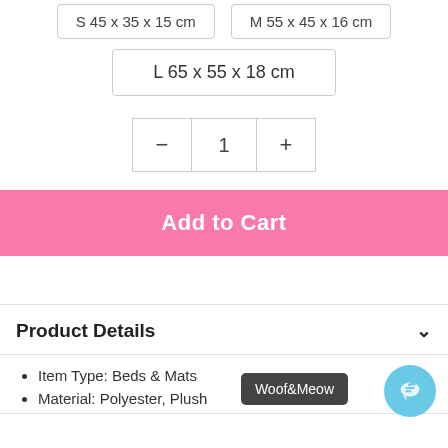S 45 x 35 x 15 cm
M 55 x 45 x 16 cm
L 65 x 55 x 18 cm
- 1 +
Add to Cart
Product Details
Item Type: Beds & Mats
Material: Polyester, Plush